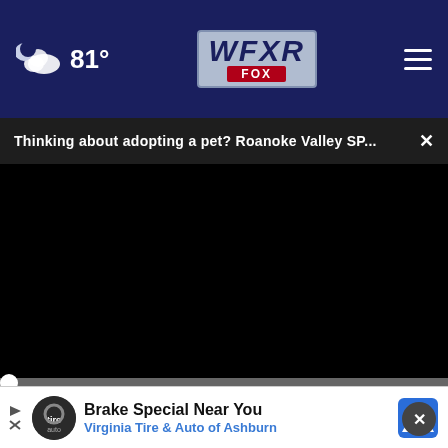81° WFXR FOX
Thinking about adopting a pet? Roanoke Valley SP... ×
[Figure (screenshot): Black video player area, paused]
00:00
[Figure (screenshot): Cartoon character visible below video player]
Brake Special Near You Virginia Tire & Auto of Ashburn